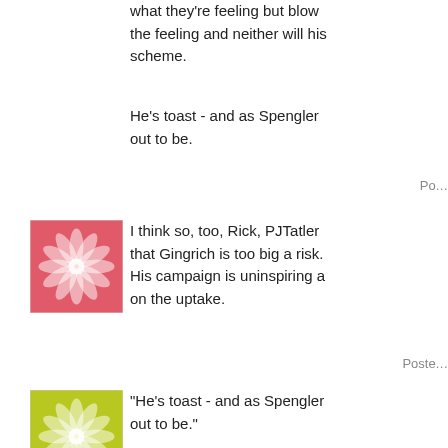what they're feeling but blow the feeling and neither will his scheme.
He's toast - and as Spengler out to be.
Po...
[Figure (illustration): Pink/red floral geometric avatar icon]
I think so, too, Rick, PJTatler that Gingrich is too big a risk. His campaign is uninspiring a on the uptake.
Posted
[Figure (illustration): Yellow/green floral geometric avatar icon]
"He's toast - and as Spengler out to be."
Rick, I wish I could believe th
[Figure (illustration): Blue/purple floral geometric avatar icon]
RickB-- I disagree with one p